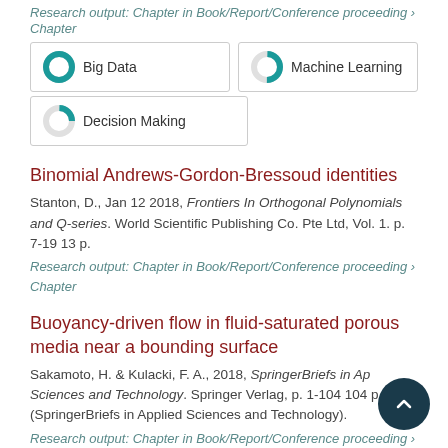Research output: Chapter in Book/Report/Conference proceeding › Chapter
[Figure (infographic): Three keyword badges with donut chart indicators: Big Data 100%, Machine Learning 50%, Decision Making 25%]
Binomial Andrews-Gordon-Bressoud identities
Stanton, D., Jan 12 2018, Frontiers In Orthogonal Polynomials and Q-series. World Scientific Publishing Co. Pte Ltd, Vol. 1. p. 7-19 13 p.
Research output: Chapter in Book/Report/Conference proceeding › Chapter
Buoyancy-driven flow in fluid-saturated porous media near a bounding surface
Sakamoto, H. & Kulacki, F. A., 2018, SpringerBriefs in Applied Sciences and Technology. Springer Verlag, p. 1-104 104 p. (SpringerBriefs in Applied Sciences and Technology).
Research output: Chapter in Book/Report/Conference proceeding ›